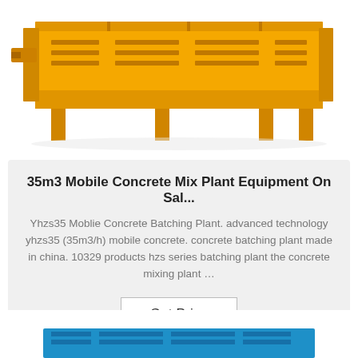[Figure (photo): Yellow industrial mobile concrete batching plant equipment on white background, top portion of machine visible]
35m3 Mobile Concrete Mix Plant Equipment On Sal...
Yhzs35 Moblie Concrete Batching Plant. advanced technology yhzs35 (35m3/h) mobile concrete. concrete batching plant made in china. 10329 products hzs series batching plant the concrete mixing plant …
Get Price
[Figure (photo): Blue section of concrete batching plant equipment, partially visible at bottom of page]